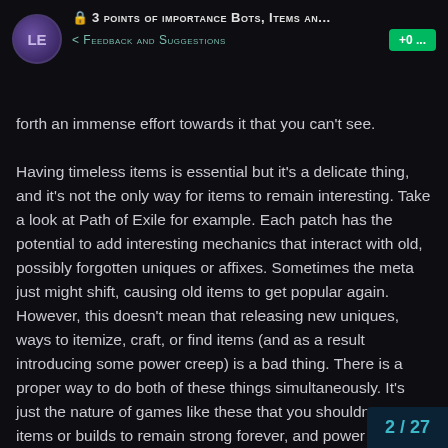🔒 3 POINTS OF IMPORTANCE BOTS, ITEMS AN...
< FEEDBACK AND SUGGESTIONS
+0 ...
forth an immense effort towards it that you can't see.

Having timeless items is essential but it's a delicate thing, and it's not the only way for items to remain interesting. Take a look at Path of Exile for example. Each patch has the potential to add interesting mechanics that interact with old, possibly forgotten uniques or affixes. Sometimes the meta just might shift, causing old items to get popular again. However, this doesn't mean that releasing new uniques, ways to itemize, craft, or find items (and as a result introducing some power creep) is a bad thing. There is a proper way to do both of these things simultaneously. It's just the nature of games like these that you shouldn't expect items or builds to remain strong forever, and power creep is a vital thing to keep players interested over a long period of time. If I am hunting the same exact 4 affix items for the same builds 3 years from now, what exactly is my motivation to play the game?

This is not to mention that this game is goi
2 / 27